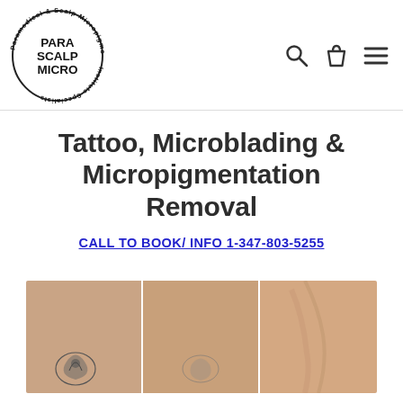[Figure (logo): Para Scalp Micro circular logo with text 'Paramedical & Scalp Micropigmentation Institute Specialists' around the border and 'PARA SCALP MICRO' in bold center text]
Tattoo, Microblading & Micropigmentation Removal
CALL TO BOOK/ INFO 1-347-803-5255
[Figure (photo): Three-panel photo showing tattoo removal progression on a person's neck/shoulder area]